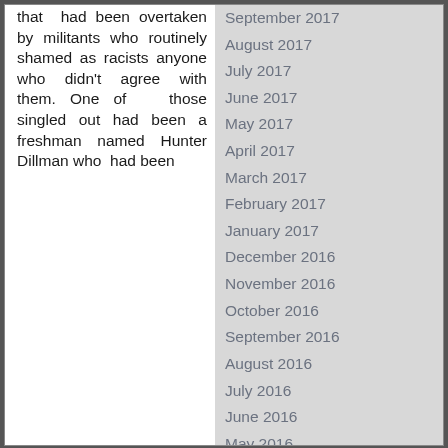that had been overtaken by militants who routinely shamed as racists anyone who didn't agree with them. One of those singled out had been a freshman named Hunter Dillman who had been
September 2017
August 2017
July 2017
June 2017
May 2017
April 2017
March 2017
February 2017
January 2017
December 2016
November 2016
October 2016
September 2016
August 2016
July 2016
June 2016
May 2016
April 2016
March 2016
February 2016
January 2016